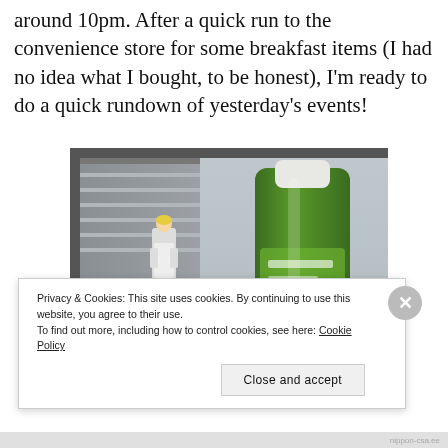around 10pm. After a quick run to the convenience store for some breakfast items (I had no idea what I bought, to be honest), I'm ready to do a quick rundown of yesterday's events!
[Figure (photo): Photo of a small anime figure and a green Japanese iced tea bottle (Ito En brand) on a windowsill, with a city street intersection visible below through the window.]
Privacy & Cookies: This site uses cookies. By continuing to use this website, you agree to their use.
To find out more, including how to control cookies, see here: Cookie Policy
Close and accept
nippon-csa.ee